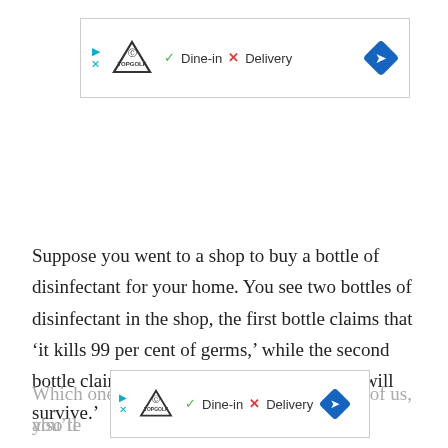[Figure (screenshot): Ad banner showing Topgolf logo with play and close icons, green checkmark Dine-in, red X Delivery text, and blue arrow diamond button]
Suppose you went to a shop to buy a bottle of disinfectant for your home. You see two bottles of disinfectant in the shop, the first bottle claims that 'it kills 99 per cent of germs,' while the second bottle claims that only '1 per cent of germs will survive.'
Which one will you pick? Like the majority of us, you'll also te... he first bottle... kill...
[Figure (screenshot): Second ad banner same as top, partially overlapping faded text]